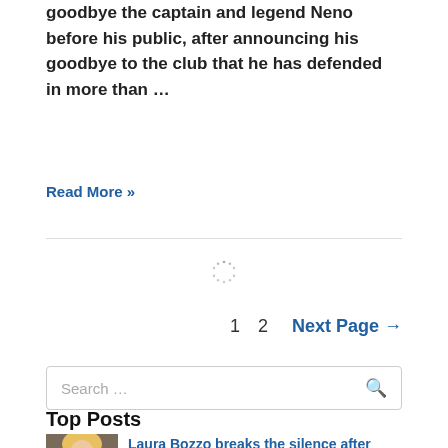goodbye the captain and legend Neno before his public, after announcing his goodbye to the club that he has defended in more than …
Read More »
[Figure (other): Loading spinner / circular progress indicator]
1  2  Next Page →
Search …
Top Posts
[Figure (photo): Thumbnail photo of a blonde woman in white]
Laura Bozzo breaks the silence after demand from her former Cristian Suárez